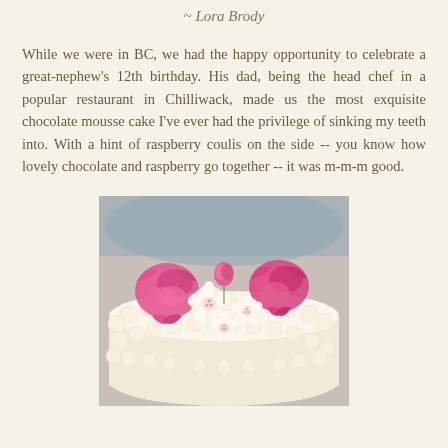~ Lora Brody
While we were in BC, we had the happy opportunity to celebrate a great-nephew's 12th birthday. His dad, being the head chef in a popular restaurant in Chilliwack, made us the most exquisite chocolate mousse cake I've ever had the privilege of sinking my teeth into. With a hint of raspberry coulis on the side -- you know how lovely chocolate and raspberry go together -- it was m-m-m good.
[Figure (photo): A decorated cake topped with pink carnations and small white flowers arranged in a circle, with white cream frosting piped in rosettes around the sides and top edge.]